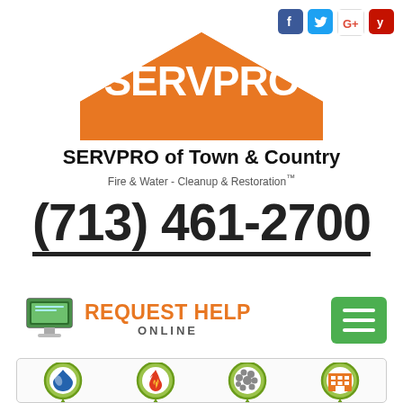[Figure (logo): Social media icons: Facebook, Twitter, Google+, Yelp]
[Figure (logo): SERVPRO house-shaped orange logo with SERVPRO text in white]
SERVPRO of Town & Country
Fire & Water - Cleanup & Restoration™
(713) 461-2700
[Figure (infographic): REQUEST HELP ONLINE button with monitor icon]
[Figure (infographic): Green hamburger menu button]
[Figure (infographic): Bottom section with four service icons: water, fire, mold, commercial]